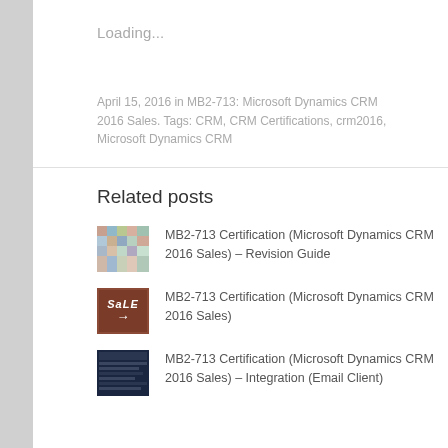Loading...
April 15, 2016 in MB2-713: Microsoft Dynamics CRM 2016 Sales. Tags: CRM, CRM Certifications, crm2016, Microsoft Dynamics CRM
Related posts
MB2-713 Certification (Microsoft Dynamics CRM 2016 Sales) – Revision Guide
MB2-713 Certification (Microsoft Dynamics CRM 2016 Sales)
MB2-713 Certification (Microsoft Dynamics CRM 2016 Sales) – Integration (Email Client)